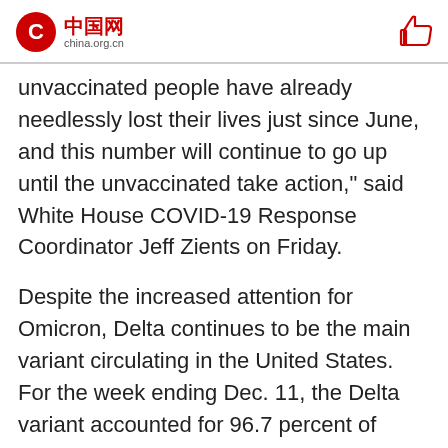中国网 china.org.cn
unvaccinated people have already needlessly lost their lives just since June, and this number will continue to go up until the unvaccinated take action," said White House COVID-19 Response Coordinator Jeff Zients on Friday.
Despite the increased attention for Omicron, Delta continues to be the main variant circulating in the United States. For the week ending Dec. 11, the Delta variant accounted for 96.7 percent of circulating SARS-CoV-2 variants, according to the CDC.
Holiday travel rush has already begun amid